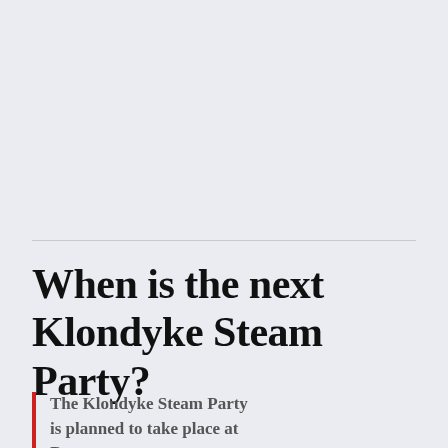When is the next Klondyke Steam Party?
The Klondyke Steam Party is planned to take place at D...